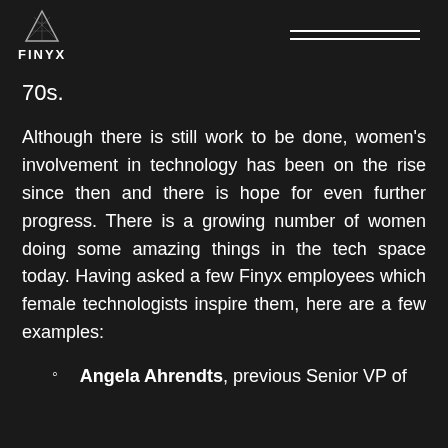FINYX
70s.
Although there is still work to be done, women's involvement in technology has been on the rise since then and there is hope for even further progress. There is a growing number of women doing some amazing things in the tech space today. Having asked a few Finyx employees which female technologists inspire them, here are a few examples:
Angela Ahrendts, previous Senior VP of